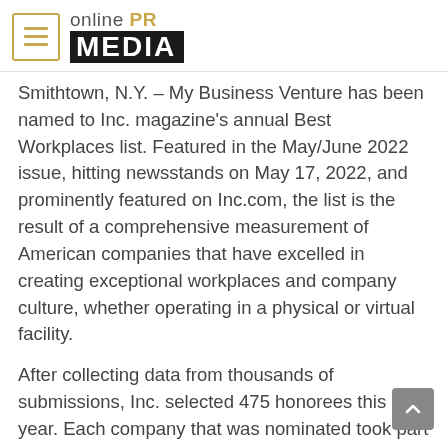online PR MEDIA
Smithtown, N.Y. – My Business Venture has been named to Inc. magazine's annual Best Workplaces list. Featured in the May/June 2022 issue, hitting newsstands on May 17, 2022, and prominently featured on Inc.com, the list is the result of a comprehensive measurement of American companies that have excelled in creating exceptional workplaces and company culture, whether operating in a physical or virtual facility.
After collecting data from thousands of submissions, Inc. selected 475 honorees this year. Each company that was nominated took part in an employee